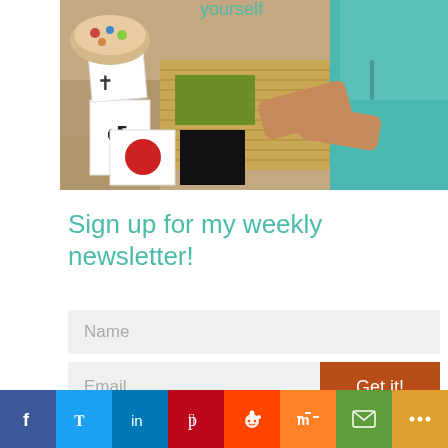[Figure (photo): Woman in teal/turquoise top sitting at a table with various items including cards, food, and decorative objects, viewed from above at an angle. Her hands are extended over the table.]
Sign up for my weekly newsletter!
[Figure (other): Newsletter signup form with Name field, Email field, and Get it! submit button]
[Figure (infographic): Social sharing bar with icons for Facebook, Twitter, LinkedIn, Pinterest, Reddit, Mix, Email, and More]